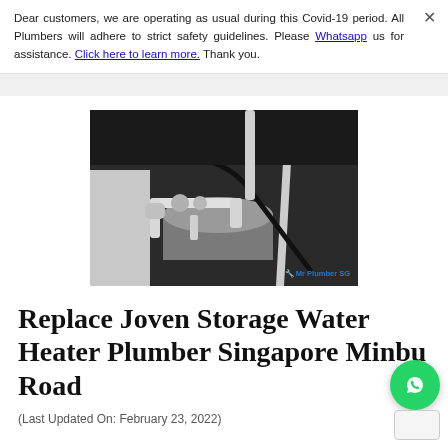Dear customers, we are operating as usual during this Covid-19 period. All Plumbers will adhere to strict safety guidelines. Please Whatsapp us for assistance. Click here to learn more. Thank you.
[Figure (photo): Photograph of a Joven storage water heater installation showing white PVC pipes connected to a grey cylindrical tank inside a dark cabinet space, with a Mr Plumber SG watermark in the lower right corner.]
Replace Joven Storage Water Heater Plumber Singapore Minbu Road
(Last Updated On: February 23, 2022)